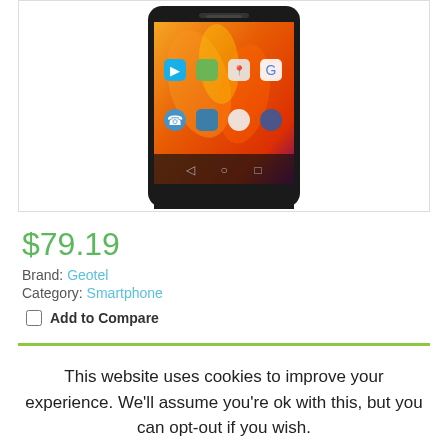[Figure (photo): A smartphone (Geotel brand) showing an Android home screen with colorful orange/flame wallpaper and app icons including Google Play, Gallery, Maps, Google, Phone, Messaging, App Drawer, Browser, Camera.]
$79.19
Brand: Geotel
Category: Smartphone
Add to Compare
This website uses cookies to improve your experience. We'll assume you're ok with this, but you can opt-out if you wish.
Accept
Read More